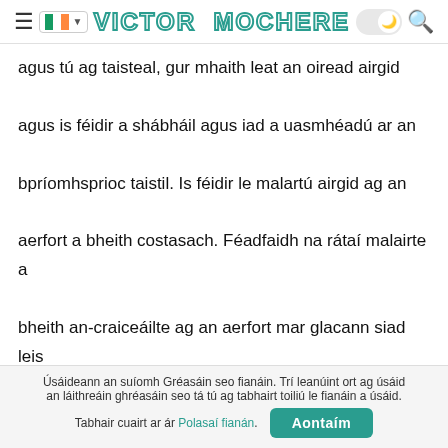VICTOR MOCHERE
agus tú ag taisteal, gur mhaith leat an oiread airgid agus is féidir a shábháil agus iad a uasmhéadú ar an bpríomhsprioc taistil. Is féidir le malartú airgid ag an aerfort a bheith costasach. Féadfaidh na rátaí malairte a bheith an-craiceáilte ag an aerfort mar glacann siad leis go bhfuil an t-airgead uait láithreach agus mar sin caithfidh tú a bheith éadóchasach. Ina theannta sin, más é seo do chéad uair sa tír sin, d'fhéadfadh go mbeadh easpa eolais leordhóthanach agat ar na háiteanna is fearr chun do chuid airgid a mhalartú.
Úsáideann an suíomh Gréasáin seo fianáin. Trí leanúint ort ag úsáid an láithreáin ghréasáin seo tá tú ag tabhairt toiliú le fianáin a úsáid. Tabhair cuairt ar ár Polasaí fianán.  Aontaím